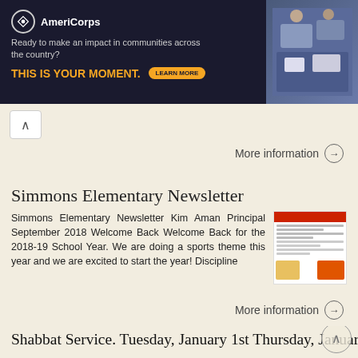[Figure (illustration): AmeriCorps advertisement banner. Dark navy background. AmeriCorps logo and name top-left. Text: 'Ready to make an impact in communities across the country? THIS IS YOUR MOMENT.' with a LEARN MORE button. Photo of people on right side.]
More information →
Simmons Elementary Newsletter
Simmons Elementary Newsletter Kim Aman Principal September 2018 Welcome Back Welcome Back for the 2018-19 School Year. We are doing a sports theme this year and we are excited to start the year! Discipline
More information →
Shabbat Service. Tuesday, January 1st Thursday, January 3rd Friday, January 4th CAFÉ CLOSED. Wednesday, January 2nd